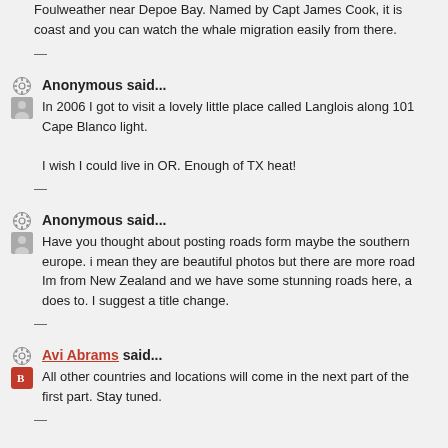Foulweather near Depoe Bay. Named by Capt James Cook, it is coast and you can watch the whale migration easily from there.
—
Anonymous said...
In 2006 I got to visit a lovely little place called Langlois along 101 Cape Blanco light.

I wish I could live in OR. Enough of TX heat!
—
Anonymous said...
Have you thought about posting roads form maybe the southern europe. i mean they are beautiful photos but there are more road Im from New Zealand and we have some stunning roads here, a does to. I suggest a title change.
—
Avi Abrams said...
All other countries and locations will come in the next part of the first part. Stay tuned.
—